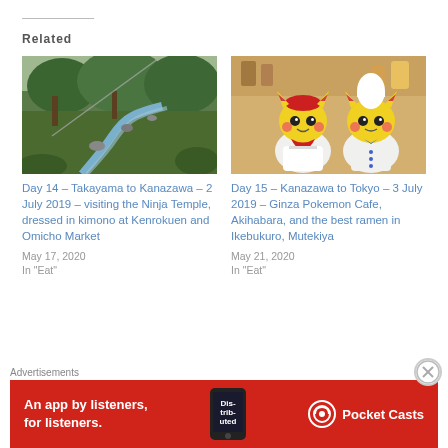Related
[Figure (photo): Japanese garden with stream, lush green trees and mossy rocks]
Day 14 – Takayama to Kanazawa – 2 July 2019 – visiting the Ninja Temple, dressed in kimono at Kenrokuen and Omicho Market
May 17, 2020
In "Eat"
[Figure (photo): Two Pikachu plush figures dressed as chef and waitress at Pokemon Cafe]
Day 15 – Kanazawa to Tokyo – 3 July 2019 – Ginza Pokemon Cafe, Akihabara, and the best ramen in Ikebukuro, Mutekiya
May 21, 2020
In "Eat"
[Figure (photo): Forest path with dense green foliage]
Advertisements
[Figure (screenshot): Pocket Casts advertisement banner - An app by listeners, for listeners.]